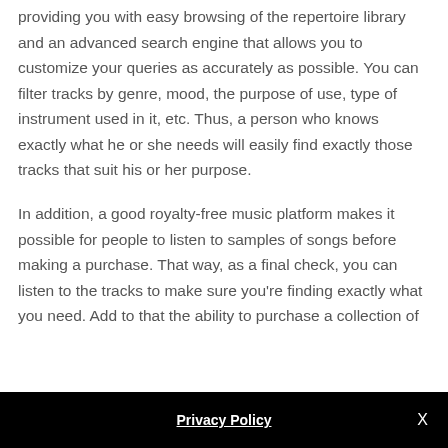providing you with easy browsing of the repertoire library and an advanced search engine that allows you to customize your queries as accurately as possible. You can filter tracks by genre, mood, the purpose of use, type of instrument used in it, etc. Thus, a person who knows exactly what he or she needs will easily find exactly those tracks that suit his or her purpose.
In addition, a good royalty-free music platform makes it possible for people to listen to samples of songs before making a purchase. That way, as a final check, you can listen to the tracks to make sure you're finding exactly what you need. Add to that the ability to purchase a collection of
Privacy Policy   X